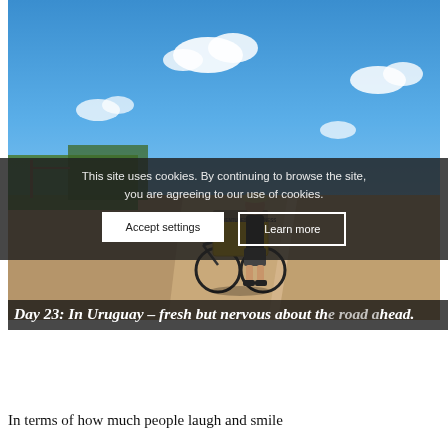[Figure (photo): A cyclist standing beside a heavily loaded bicycle on a dusty dirt road in Uruguay. The person wears a hat, dark t-shirt, and shorts. The bicycle has large yellow panniers with text 'ADVENTURES&HAPPINESS'. Blue sky with scattered white clouds above flat rural landscape.]
This site uses cookies. By continuing to browse the site, you are agreeing to our use of cookies.
Accept settings
Learn more
Day 23: In Uruguay – fresh but nervous about th... ahead.
In terms of how much people laugh and smile